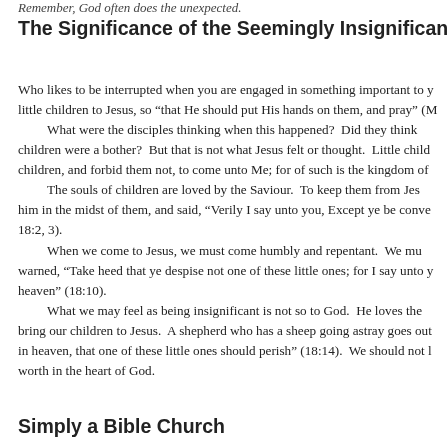Remember, God often does the unexpected.
The Significance of the Seemingly Insignificant
Who likes to be interrupted when you are engaged in something important to y... little children to Jesus, so “that He should put His hands on them, and pray” (M... What were the disciples thinking when this happened? Did they think children were a bother? But that is not what Jesus felt or thought. Little child... children, and forbid them not, to come unto Me; for of such is the kingdom of... The souls of children are loved by the Saviour. To keep them from Jes... him in the midst of them, and said, “Verily I say unto you, Except ye be conve... 18:2, 3). When we come to Jesus, we must come humbly and repentant. We mu... warned, “Take heed that ye despise not one of these little ones; for I say unto y... heaven” (18:10). What we may feel as being insignificant is not so to God. He loves the... bring our children to Jesus. A shepherd who has a sheep going astray goes out... in heaven, that one of these little ones should perish” (18:14). We should not l... worth in the heart of God.
Simply a Bible Church